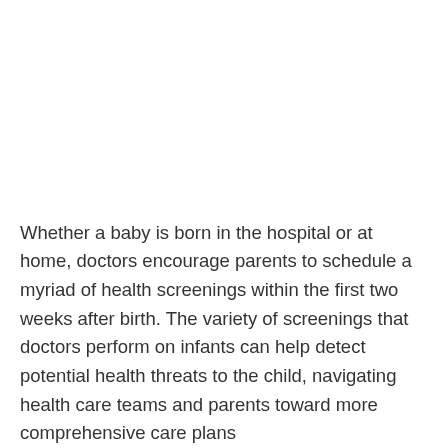Whether a baby is born in the hospital or at home, doctors encourage parents to schedule a myriad of health screenings within the first two weeks after birth. The variety of screenings that doctors perform on infants can help detect potential health threats to the child, navigating health care teams and parents toward more comprehensive care plans